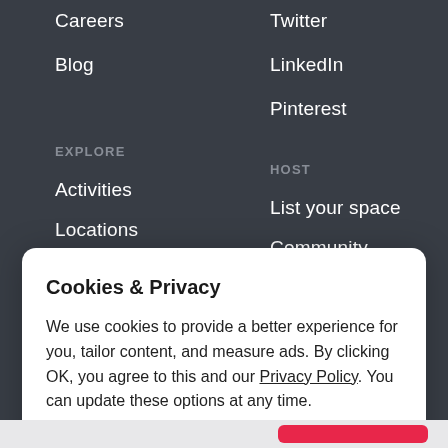Careers
Blog
Twitter
LinkedIn
Pinterest
EXPLORE
HOST
Activities
List your space
Locations
Community
Cookies & Privacy
We use cookies to provide a better experience for you, tailor content, and measure ads. By clicking OK, you agree to this and our Privacy Policy. You can update these options at any time.
Cookie Preferences
OK